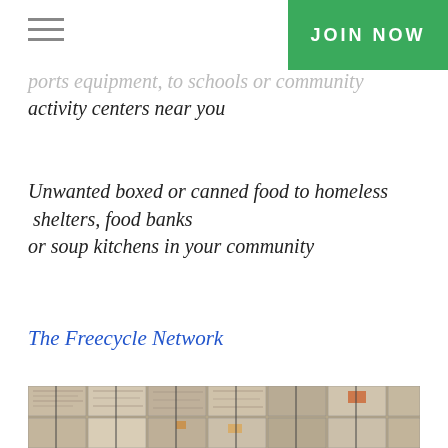JOIN NOW
ports equipment, to schools or community activity centers near you
Unwanted boxed or canned food to homeless shelters, food banks or soup kitchens in your community
The Freecycle Network
[Figure (photo): Bales of compressed/recycled paper and cardboard stacked together]